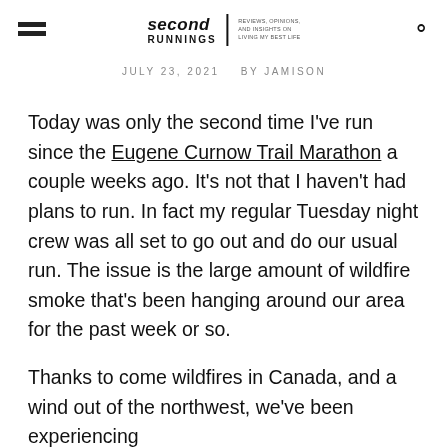second RUNNINGS | REVIEWS, OPINIONS, AND INSIGHTS ON LIVING MY BEST LIFE
JULY 23, 2021   BY JAMISON
Today was only the second time I've run since the Eugene Curnow Trail Marathon a couple weeks ago. It's not that I haven't had plans to run. In fact my regular Tuesday night crew was all set to go out and do our usual run. The issue is the large amount of wildfire smoke that's been hanging around our area for the past week or so.
Thanks to come wildfires in Canada, and a wind out of the northwest, we've been experiencing